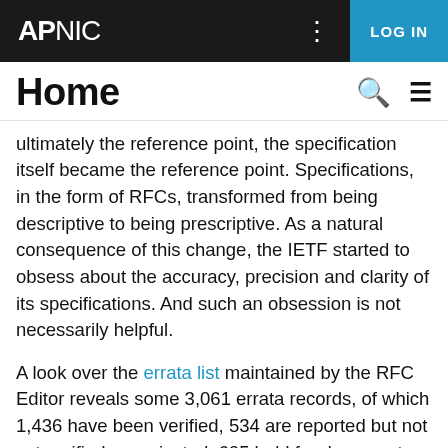APNIC  LOG IN
Home
ultimately the reference point, the specification itself became the reference point. Specifications, in the form of RFCs, transformed from being descriptive to being prescriptive. As a natural consequence of this change, the IETF started to obsess about the accuracy, precision and clarity of its specifications. And such an obsession is not necessarily helpful.
A look over the errata list maintained by the RFC Editor reveals some 3,061 errata records, of which 1,436 have been verified, 534 are reported but not yet verified nor rejected, 605 held for document update and 486 have been rejected. The RFC numbering sequence is up to 8,881 these days so that's an average erratum reporting rate of one in